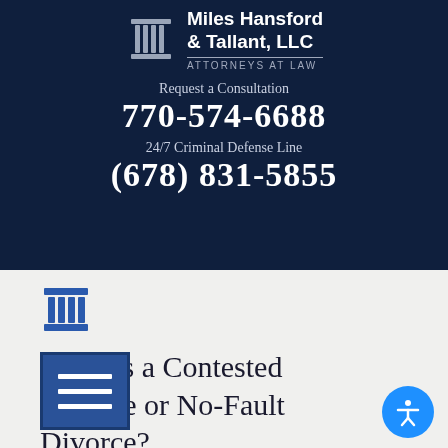[Figure (logo): Miles Hansford & Tallant LLC law firm logo with pillar icon]
Miles Hansford & Tallant, LLC ATTORNEYS AT LAW
Request a Consultation
770-574-6688
24/7 Criminal Defense Line
(678) 831-5855
[Figure (logo): Blue pillar/column icon]
What Is a Contested Divorce or No-Fault Divorce?